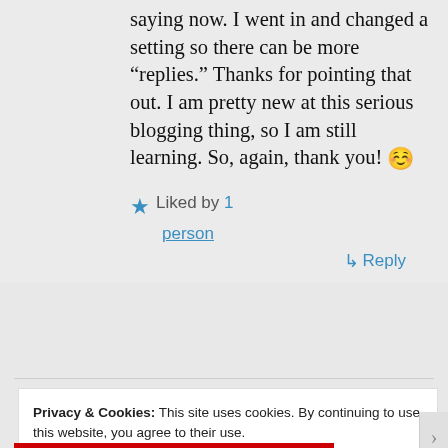saying now. I went in and changed a setting so there can be more “replies.” Thanks for pointing that out. I am pretty new at this serious blogging thing, so I am still learning. So, again, thank you! 🙂
Liked by 1 person
↳ Reply
Privacy & Cookies: This site uses cookies. By continuing to use this website, you agree to their use.
To find out more, including how to control cookies, see here: Cookie Policy
Close and accept